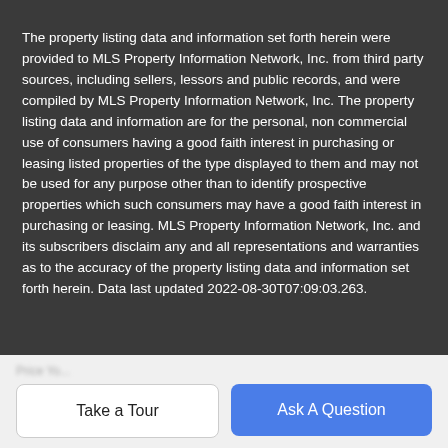The property listing data and information set forth herein were provided to MLS Property Information Network, Inc. from third party sources, including sellers, lessors and public records, and were compiled by MLS Property Information Network, Inc. The property listing data and information are for the personal, non commercial use of consumers having a good faith interest in purchasing or leasing listed properties of the type displayed to them and may not be used for any purpose other than to identify prospective properties which such consumers may have a good faith interest in purchasing or leasing. MLS Property Information Network, Inc. and its subscribers disclaim any and all representations and warranties as to the accuracy of the property listing data and information set forth herein. Data last updated 2022-08-30T07:09:03.263.